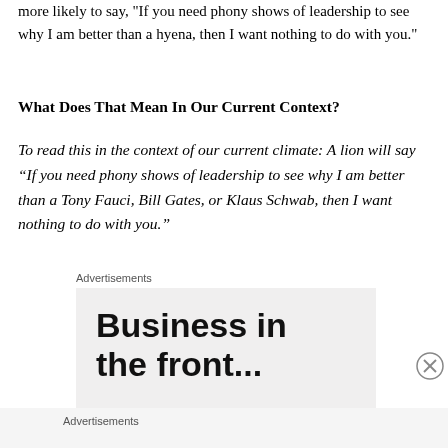more likely to say, "If you need phony shows of leadership to see why I am better than a hyena, then I want nothing to do with you."
What Does That Mean In Our Current Context?
To read this in the context of our current climate: A lion will say “If you need phony shows of leadership to see why I am better than a Tony Fauci, Bill Gates, or Klaus Schwab, then I want nothing to do with you.”
Advertisements
[Figure (other): Advertisement banner with bold text reading 'Business in the front...' on a light gray background, with a close button (X) in the bottom right corner.]
Advertisements